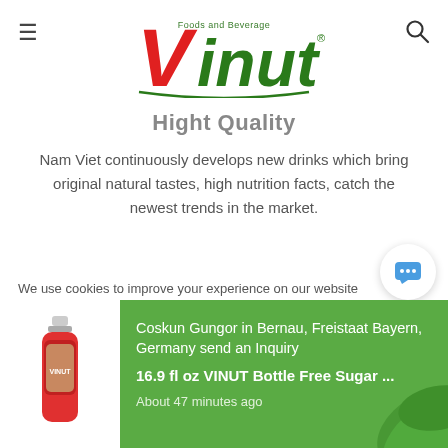[Figure (logo): Vinut Foods and Beverage logo with red V and green text]
Hight Quality
Nam Viet continuously develops new drinks which bring original natural tastes, high nutrition facts, catch the newest trends in the market.
[Figure (other): Clock/history icon inside a light gray circle]
We use cookies to improve your experience on our website
[Figure (other): Inquiry notification: Coskun Gungor in Bernau, Freistaat Bayern, Germany send an Inquiry for 16.9 fl oz VINUT Bottle Free Sugar ... About 47 minutes ago]